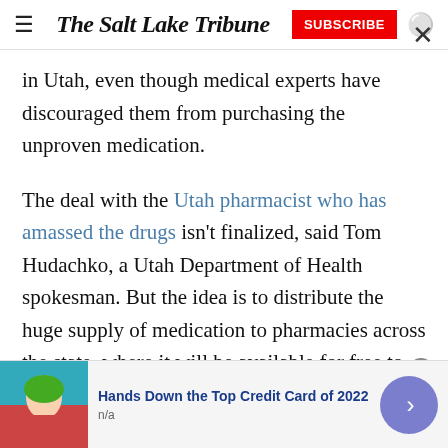The Salt Lake Tribune
in Utah, even though medical experts have discouraged them from purchasing the unproven medication.
The deal with the Utah pharmacist who has amassed the drugs isn't finalized, said Tom Hudachko, a Utah Department of Health spokesman. But the idea is to distribute the huge supply of medication to pharmacies across the state, where it will be available for free to coronavirus patients, Hudachko told The Salt Lake Tribune in an email.
[Figure (photo): Advertisement banner: woman in red sweater photo, 'Hands Down the Top Credit Card of 2022', n/a]